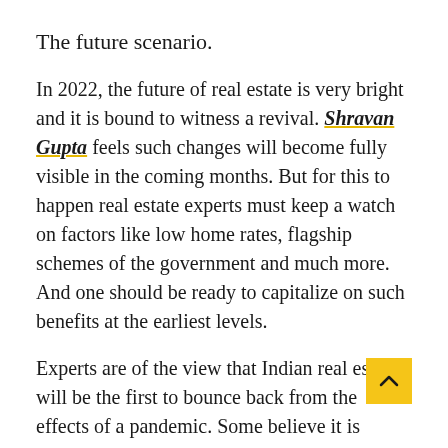The future scenario.
In 2022, the future of real estate is very bright and it is bound to witness a revival. Shravan Gupta feels such changes will become fully visible in the coming months. But for this to happen real estate experts must keep a watch on factors like low home rates, flagship schemes of the government and much more. And one should be ready to capitalize on such benefits at the earliest levels.
Experts are of the view that Indian real estate will be the first to bounce back from the effects of a pandemic. Some believe it is already on the path to recovery and